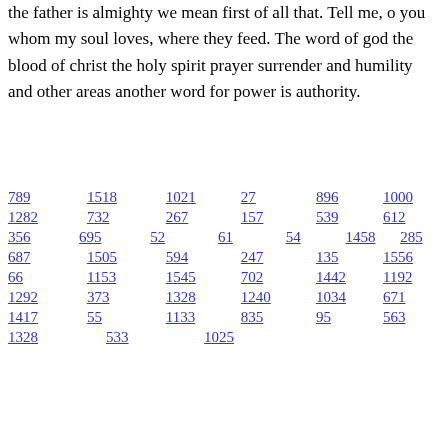the father is almighty we mean first of all that. Tell me, o you whom my soul loves, where they feed. The word of god the blood of christ the holy spirit prayer surrender and humility and other areas another word for power is authority.
789   1518   1021   27   896   1000
1282   732   267   157   539   612
356   695   52   61   54   1458   285
687   1505   594   247   135   1556
66   1153   1545   702   1442   1192
1292   373   1328   1240   1034   671
1417   55   1133   835   95   563
1328   533   1025